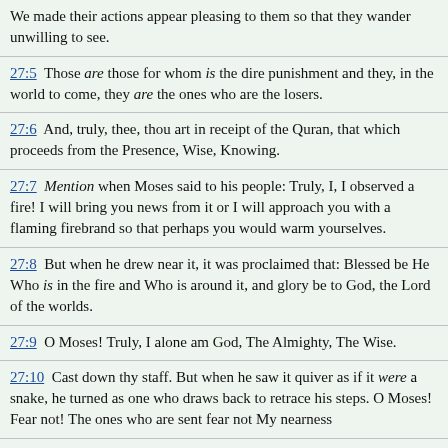We made their actions appear pleasing to them so that they wander unwilling to see.
27:5  Those are those for whom is the dire punishment and they, in the world to come, they are the ones who are the losers.
27:6  And, truly, thee, thou art in receipt of the Quran, that which proceeds from the Presence, Wise, Knowing.
27:7  Mention when Moses said to his people: Truly, I, I observed a fire! I will bring you news from it or I will approach you with a flaming firebrand so that perhaps you would warm yourselves.
27:8  But when he drew near it, it was proclaimed that: Blessed be He Who is in the fire and Who is around it, and glory be to God, the Lord of the worlds.
27:9  O Moses! Truly, I alone am God, The Almighty, The Wise.
27:10  Cast down thy staff. But when he saw it quiver as if it were a snake, he turned as one who draws back to retrace his steps. O Moses! Fear not! The ones who are sent fear not My nearness
27:11  but whoever did wrong does. Again, he substituted goodness after evil and, truly, I am Forgiving, Compassionate.
27:12  Cause thy hand to enter into thy bosom. It will go forth shimmering white without evil. These are among nine signs to